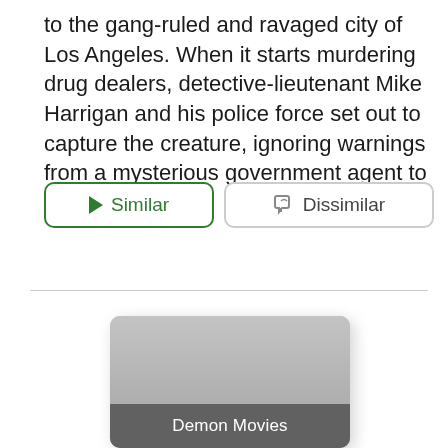to the gang-ruled and ravaged city of Los Angeles. When it starts murdering drug dealers, detective-lieutenant Mike Harrigan and his police force set out to capture the creature, ignoring warnings from a mysterious government agent to stay away.
[Figure (screenshot): Two UI buttons side by side: a green-bordered 'Similar' button with a play arrow icon, and a gray-bordered 'Dissimilar' button with a thumbs-down icon.]
[Figure (photo): A gray placeholder card with rounded corners and a dark overlay banner at the bottom reading 'Demon Movies'.]